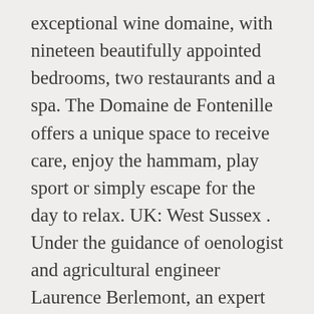exceptional wine domaine, with nineteen beautifully appointed bedrooms, two restaurants and a spa. The Domaine de Fontenille offers a unique space to receive care, enjoy the hammam, play sport or simply escape for the day to relax. UK: West Sussex . Under the guidance of oenologist and agricultural engineer Laurence Berlemont, an expert in Provence wines, the estate has now been fully restored to the 35 hectares it was in 1748. We've sent you an email so you can confirm your subscription. Excellent location – show map, Excellent location – rated 9.4/10! Sign your labels and create your personalized bottles! Free WiFi is provided. Additional continuing time might be available (for a one-of